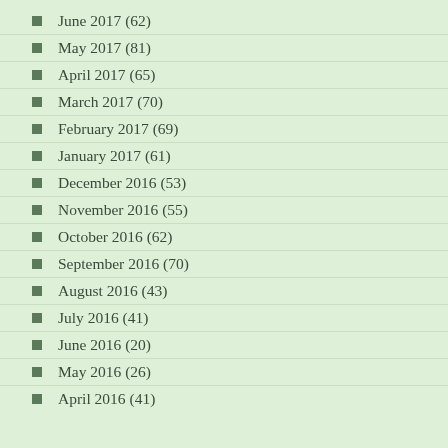June 2017 (62)
May 2017 (81)
April 2017 (65)
March 2017 (70)
February 2017 (69)
January 2017 (61)
December 2016 (53)
November 2016 (55)
October 2016 (62)
September 2016 (70)
August 2016 (43)
July 2016 (41)
June 2016 (20)
May 2016 (26)
April 2016 (41)